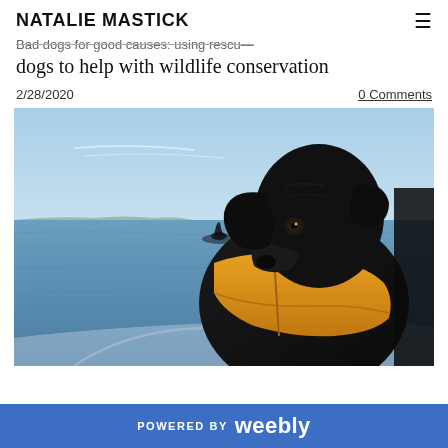NATALIE MASTICK
Bad dogs for good causes: Using rescue dogs to help with wildlife conservation
2/28/2020
0 Comments
[Figure (photo): A black Labrador wearing an orange life vest sits on a boat, looking out over calm water where an orca's dorsal fin is visible in the background, with a clear blue sky above.]
POWERED BY weebly